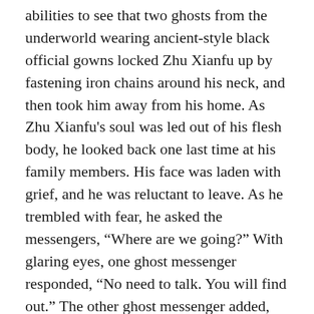abilities to see that two ghosts from the underworld wearing ancient-style black official gowns locked Zhu Xianfu up by fastening iron chains around his neck, and then took him away from his home. As Zhu Xianfu's soul was led out of his flesh body, he looked back one last time at his family members. His face was laden with grief, and he was reluctant to leave. As he trembled with fear, he asked the messengers, “Where are we going?” With glaring eyes, one ghost messenger responded, “No need to talk. You will find out.” The other ghost messenger added, “If only you had known that when you were alive, all those evil deeds you committed, such as slandering the Buddha Fa, injuring cultivators, and committing adultery, would land you in hell forever, never to emerge. So there is no need for your noisy talk.” Zhu Xianfu was detained before King Yama's palace hall, and his entire memory was unlocked. Everything he did in life was vividly laid before his eyes. Originally, he incarnated into the world to obtain the Fa, yet he broke the law and committed bad deeds once he had a human body. At